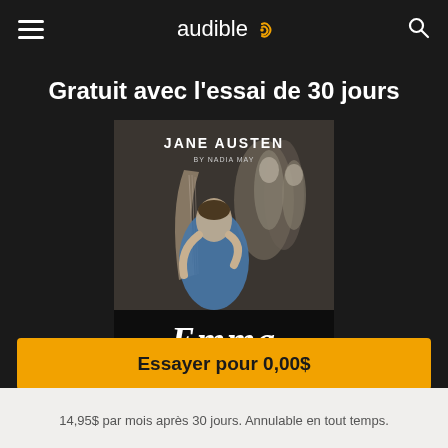audible
Gratuit avec l'essai de 30 jours
[Figure (illustration): Audiobook cover for 'Emma' by Jane Austen, narrated by Nadia May. Shows a woman in a blue Regency-era dress playing a harp, with other figures in the background. The title 'Emma' appears in large script at the bottom.]
Essayer pour 0,00$
14,95$ par mois après 30 jours. Annulable en tout temps.